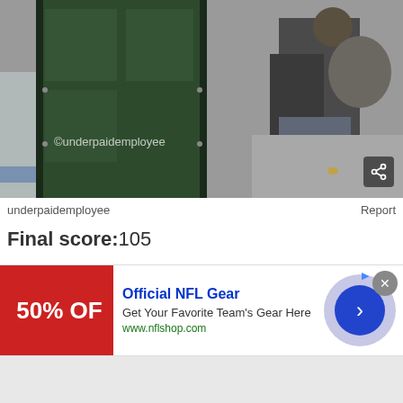[Figure (photo): A person near a large dark green box/container on a sidewalk, carrying a bag. Watermark reads ©underpaidemployee. Share button in bottom right corner of image.]
underpaidemployee
Report
Final score:105
Add a comment...
POST
[Figure (other): Advertisement banner: Official NFL Gear - Get Your Favorite Team's Gear Here - www.nflshop.com - with red image showing 50% OFF and a blue arrow button]
Official NFL Gear
Get Your Favorite Team's Gear Here
www.nflshop.com